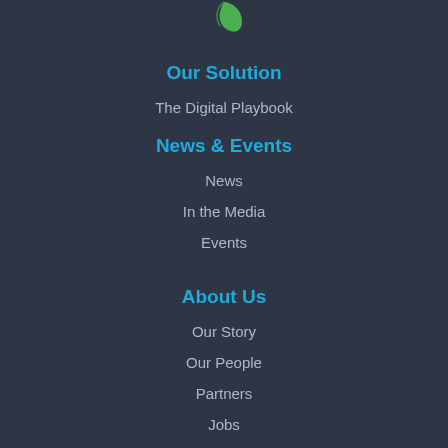[Figure (logo): Green leaf logo icon at top center]
Our Solution
The Digital Playbook
News & Events
News
In the Media
Events
About Us
Our Story
Our People
Partners
Jobs